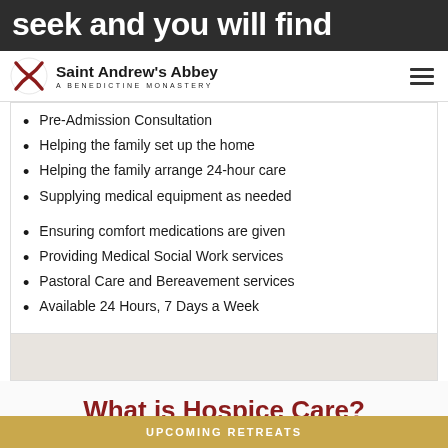seek and you will find
[Figure (logo): Saint Andrew's Abbey - A Benedictine Monastery logo with cross icon and hamburger menu]
Pre-Admission Consultation
Helping the family set up the home
Helping the family arrange 24-hour care
Supplying medical equipment as needed
Ensuring comfort medications are given
Providing Medical Social Work services
Pastoral Care and Bereavement services
Available 24 Hours, 7 Days a Week
What is Hospice Care?
UPCOMING RETREATS